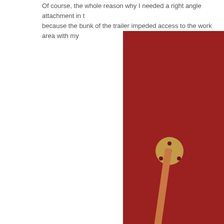Of course, the whole reason why I needed a right angle attachment in the first place was because the bunk of the trailer impeded access to the work area with my drill.
[Figure (photo): Photo showing a drill with a right-angle attachment being used to drill through a red metal surface (ceiling/floor of a trailer). A copper pipe or rod is inserted through a brass fitting in the red surface. The drill body is black with a red handle.]
The last area on which I focused was under the galley sink.
[Figure (photo): Partial photo showing the inside of a cabinet or under-sink area, with white walls and what appears to be wooden components visible at the bottom.]